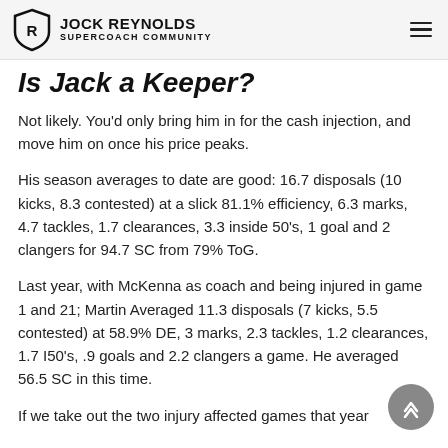JOCK REYNOLDS SUPERCOACH COMMUNITY
Is Jack a Keeper?
Not likely. You'd only bring him in for the cash injection, and move him on once his price peaks.
His season averages to date are good: 16.7 disposals (10 kicks, 8.3 contested) at a slick 81.1% efficiency, 6.3 marks, 4.7 tackles, 1.7 clearances, 3.3 inside 50's, 1 goal and 2 clangers for 94.7 SC from 79% ToG.
Last year, with McKenna as coach and being injured in game 1 and 21; Martin Averaged 11.3 disposals (7 kicks, 5.5 contested) at 58.9% DE, 3 marks, 2.3 tackles, 1.2 clearances, 1.7 I50's, .9 goals and 2.2 clangers a game. He averaged 56.5 SC in this time.
If we take out the two injury affected games that year...